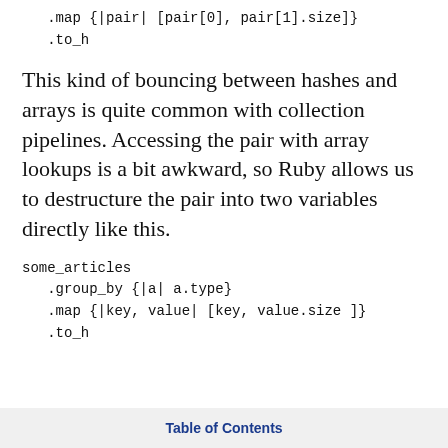.map {|pair| [pair[0], pair[1].size]}
   .to_h
This kind of bouncing between hashes and arrays is quite common with collection pipelines. Accessing the pair with array lookups is a bit awkward, so Ruby allows us to destructure the pair into two variables directly like this.
some_articles
   .group_by {|a| a.type}
   .map {|key, value| [key, value.size ]}
   .to_h
Table of Contents